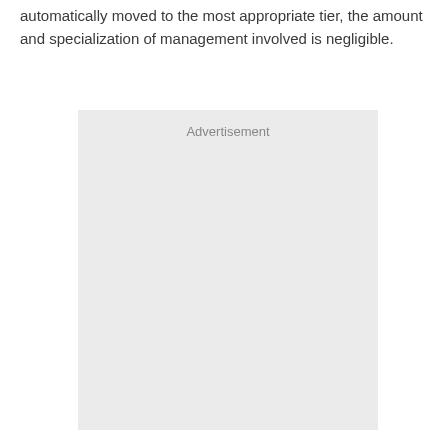automatically moved to the most appropriate tier, the amount and specialization of management involved is negligible.
[Figure (other): Advertisement placeholder box with light gray background and 'Advertisement' label text at the top center.]